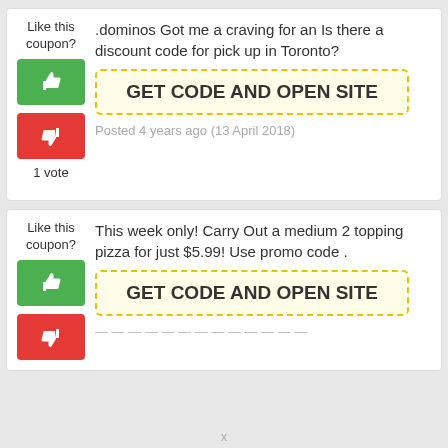Like this coupon?
.dominos Got me a craving for an Is there a discount code for pick up in Toronto?
GET CODE AND OPEN SITE
Posted 4 years ago (13 April 2018)
1 vote
Like this coupon?
This week only! Carry Out a medium 2 topping pizza for just $5.99! Use promo code .
GET CODE AND OPEN SITE